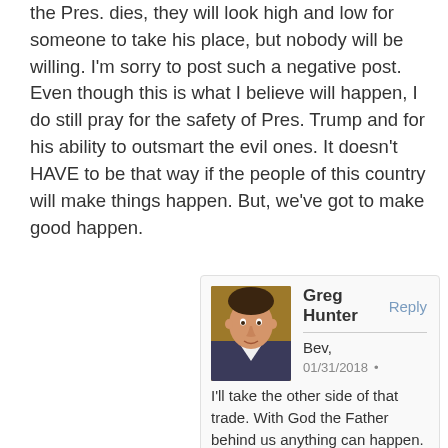the Pres. dies, they will look high and low for someone to take his place, but nobody will be willing. I'm sorry to post such a negative post. Even though this is what I believe will happen, I do still pray for the safety of Pres. Trump and for his ability to outsmart the evil ones. It doesn't HAVE to be that way if the people of this country will make things happen. But, we've got to make good happen.
Greg Hunter Reply
Bev,
01/31/2018
I'll take the other side of that trade. With God the Father behind us anything can happen. 2 Chronicles 7:14 "New International Version–